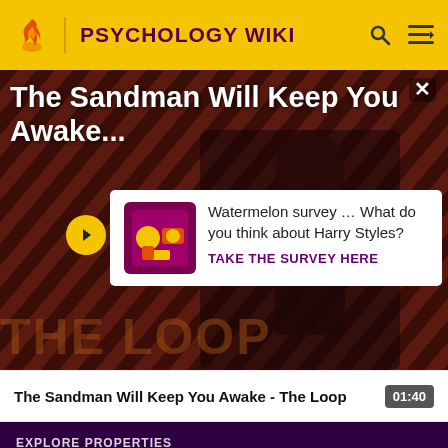PSYCHOLOGY WIKI
The Sandman Will Keep You Awake...
[Figure (screenshot): Video thumbnail showing dark diagonal striped background with a figure, overlaid with a survey popup card and THE LOOP text]
Watermelon survey … What do you think about Harry Styles?
TAKE THE SURVEY HERE
The Sandman Will Keep You Awake - The Loop  01:40
EXPLORE PROPERTIES
Fandom
Futhead